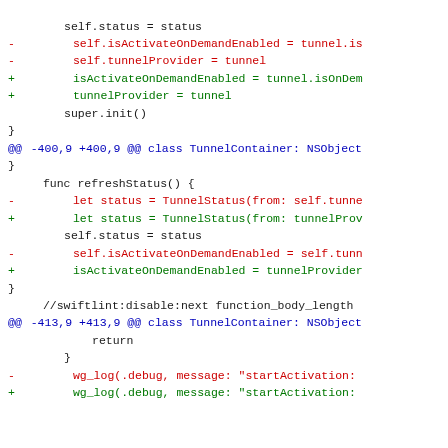[Figure (screenshot): Code diff view showing Swift source code changes in a TunnelContainer class, with removed lines in red, added lines in green, context lines in black, and hunk headers in blue.]